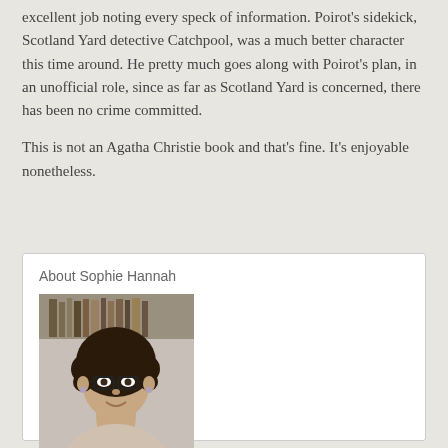excellent job noting every speck of information. Poirot's sidekick, Scotland Yard detective Catchpool, was a much better character this time around. He pretty much goes along with Poirot's plan, in an unofficial role, since as far as Scotland Yard is concerned, there has been no crime committed.
This is not an Agatha Christie book and that's fine. It's enjoyable nonetheless.
About Sophie Hannah
[Figure (photo): Portrait photo of Sophie Hannah, a woman with curly dark hair, wearing glasses and a light-colored top, smiling at the camera.]